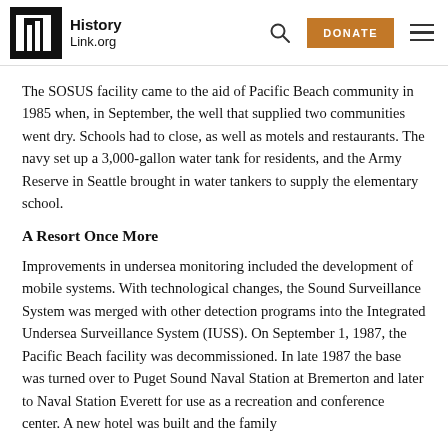HistoryLink.org
The SOSUS facility came to the aid of Pacific Beach community in 1985 when, in September, the well that supplied two communities went dry. Schools had to close, as well as motels and restaurants. The navy set up a 3,000-gallon water tank for residents, and the Army Reserve in Seattle brought in water tankers to supply the elementary school.
A Resort Once More
Improvements in undersea monitoring included the development of mobile systems. With technological changes, the Sound Surveillance System was merged with other detection programs into the Integrated Undersea Surveillance System (IUSS). On September 1, 1987, the Pacific Beach facility was decommissioned. In late 1987 the base was turned over to Puget Sound Naval Station at Bremerton and later to Naval Station Everett for use as a recreation and conference center. A new hotel was built and the family